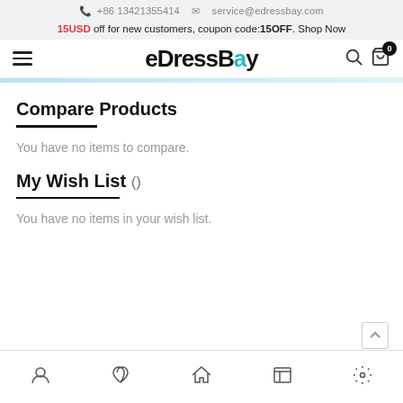+86 13421355414   service@edressbay.com
15USD off for new customers, coupon code:15OFF. Shop Now
eDressBay
Compare Products
You have no items to compare.
My Wish List ()
You have no items in your wish list.